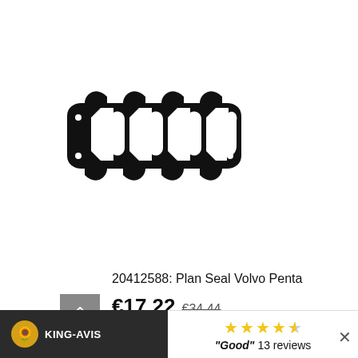[Figure (illustration): Product illustration of a gasket part (20412588 Plan Seal Volvo Penta) showing a black elongated gasket with four valve-shaped cutouts and mounting holes around the perimeter.]
20412588: Plan Seal Volvo Penta
€17.22  €34.44
[Figure (logo): KING-AVIS logo with sunflower icon on dark background bar at bottom left]
"Good" 13 reviews